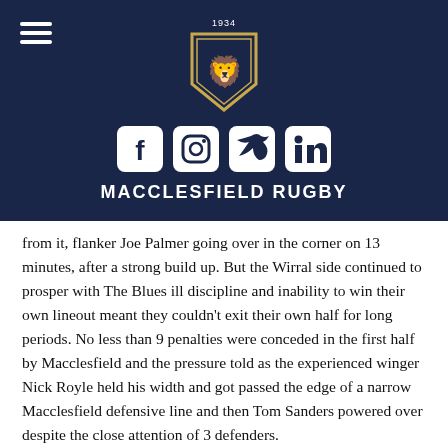[Figure (logo): Macclesfield Rugby club crest with lion and shield, year 1934, centered in dark navy header]
[Figure (infographic): Social media icons: Facebook, Instagram, Twitter, LinkedIn in white on dark navy background]
MACCLESFIELD RUGBY
from it, flanker Joe Palmer going over in the corner on 13 minutes, after a strong build up. But the Wirral side continued to prosper with The Blues ill discipline and inability to win their own lineout meant they couldn't exit their own half for long periods. No less than 9 penalties were conceded in the first half by Macclesfield and the pressure told as the experienced winger Nick Royle held his width and got passed the edge of a narrow Macclesfield defensive line and then Tom Sanders powered over despite the close attention of 3 defenders.